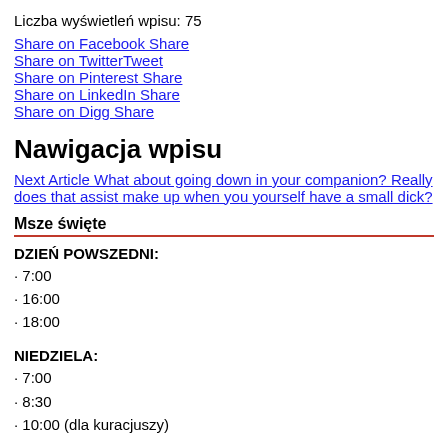Liczba wyświetleń wpisu: 75
Share on Facebook Share
Share on TwitterTweet
Share on Pinterest Share
Share on LinkedIn Share
Share on Digg Share
Nawigacja wpisu
Next Article What about going down in your companion? Really does that assist make up when you yourself have a small dick?
Msze święte
DZIEŃ POWSZEDNI:
· 7:00
· 16:00
· 18:00
NIEDZIELA:
· 7:00
· 8:30
· 10:00 (dla kuracjuszy)